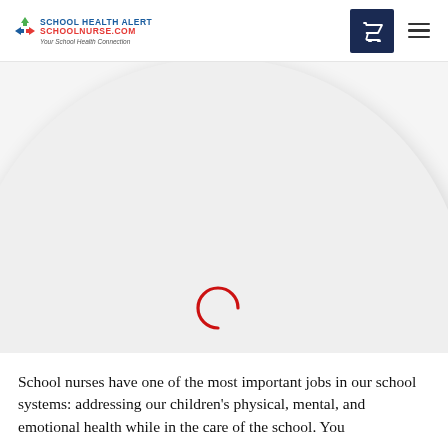School Health Alert SchoolNurse.com — Your School Health Connection
[Figure (illustration): Large circular graphic with a loading spinner (red arc/C-shape) centered inside, on a light grey circular background with drop shadow]
School nurses have one of the most important jobs in our school systems: addressing our children's physical, mental, and emotional health while in the care of the school.  You